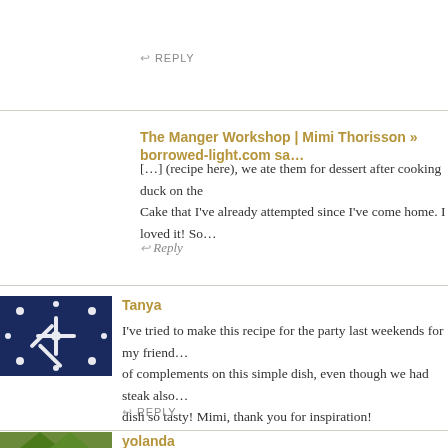↩ REPLY
The Manger Workshop | Mimi Thorisson » borrowed-light.com sa…
[…] (recipe here), we ate them for dessert after cooking duck on the… Cake that I've already attempted since I've come home. I loved it! So…
↩ Reply
Tanya
I've tried to make this recipe for the party last weekends for my friend… of complements on this simple dish, even though we had steak also… dish so tasty! Mimi, thank you for inspiration!
↩ REPLY
yolanda